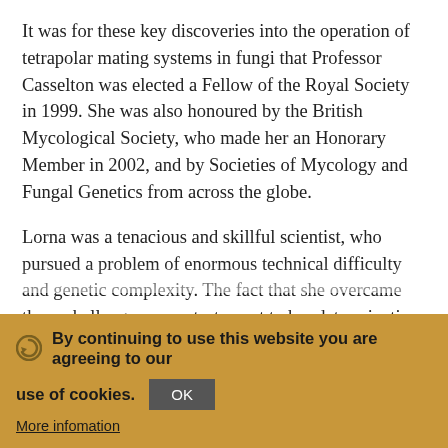It was for these key discoveries into the operation of tetrapolar mating systems in fungi that Professor Casselton was elected a Fellow of the Royal Society in 1999. She was also honoured by the British Mycological Society, who made her an Honorary Member in 2002, and by Societies of Mycology and Fungal Genetics from across the globe.
Lorna was a tenacious and skillful scientist, who pursued a problem of enormous technical difficulty and genetic complexity. The fact that she overcame these challenges was a testament to her determination, her strength of character and her ability to motivate those around her. She was relentlessly enthusiastic about her science, which influenced many other fungal geneticists (including myself), and she also had very exacting
By continuing to use this website you are agreeing to our use of cookies. OK More infomation